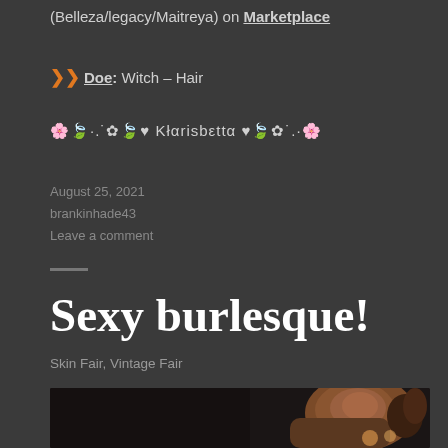(Belleza/legacy/Maitreya) on Marketplace
❯❯ Doe: Witch – Hair
🌸🍃·.˙✿🍃♥ Kłαrisbεttα ♥🍃✿˙.·🌸
August 25, 2021
brankinhade43
Leave a comment
Sexy burlesque!
Skin Fair, Vintage Fair
[Figure (photo): Photo of a virtual avatar woman with brown hair lying down, partially visible at the bottom of the page]